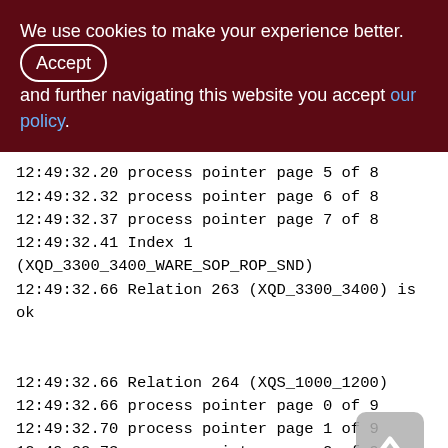We use cookies to make your experience better. By accepting and further navigating this website you accept our policy.
12:49:32.20 process pointer page 5 of 8
12:49:32.32 process pointer page 6 of 8
12:49:32.37 process pointer page 7 of 8
12:49:32.41 Index 1 (XQD_3300_3400_WARE_SOP_ROP_SND)
12:49:32.66 Relation 263 (XQD_3300_3400) is ok

12:49:32.66 Relation 264 (XQS_1000_1200)
12:49:32.66 process pointer page 0 of 9
12:49:32.70 process pointer page 1 of 9
12:49:32.73 process pointer page 2 of 9
12:49:32.77 process pointer page 3 of 9